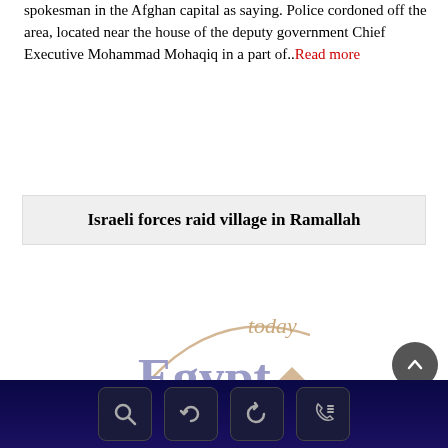spokesman in the Afghan capital as saying. Police cordoned off the area, located near the house of the deputy government Chief Executive Mohammad Mohaqiq in a part of..Read more
Israeli forces raid village in Ramallah
[Figure (logo): Egypt Today logo — 'Egypt' in large lavender/purple letters with 'today' in smaller beige/tan letters above, and a diamond shape in tan/beige on the right]
[Figure (other): Dark circular scroll-to-top button with upward chevron arrow]
Navigation bar with search, refresh, back, and phone/call icons on a dark navy blue background